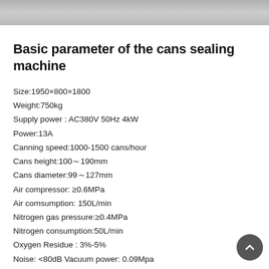[Figure (photo): Partial view of a cans sealing machine — grey/metallic equipment, shown as a cropped photo strip at the top of the page.]
Basic parameter of the cans sealing machine
Size:1950×800×1800
Weight:750kg
Supply power : AC380V 50Hz 4kW
Power:13A
Canning speed:1000-1500 cans/hour
Cans height:100～190mm
Cans diameter:99～127mm
Air compressor: ≥0.6MPa
Air comsumption: 150L/min
Nitrogen gas pressure:≥0.4MPa
Nitrogen consumption:50L/min
Oxygen Residue : 3%-5%
Noise: <80dB Vacuum power: 0.09Mpa